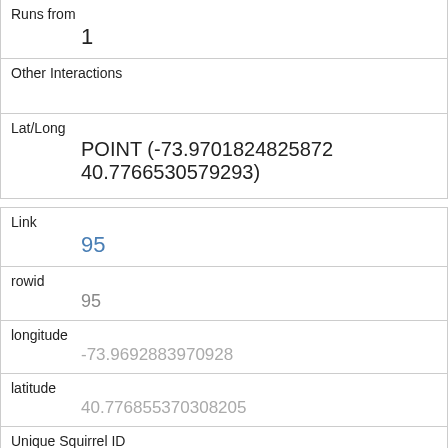| Runs from | 1 |
| Other Interactions |  |
| Lat/Long | POINT (-73.9701824825872 40.7766530579293) |
| Link | 95 |
| rowid | 95 |
| longitude | -73.9692883970928 |
| latitude | 40.776855370308205 |
| Unique Squirrel ID | 14E-AM-1008-02 |
| Hectare | 14E |
| Shift |  |